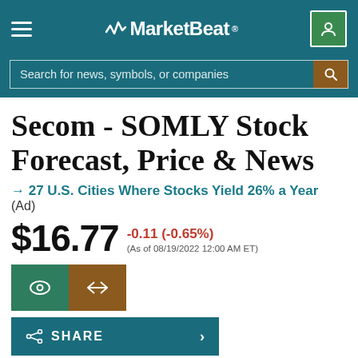MarketBeat
Secom - SOMLY Stock Forecast, Price & News
→ 27 U.S. Cities Where Stocks Yield 26% a Year (Ad)
$16.77 -0.11 (-0.65%) (As of 08/19/2022 12:00 AM ET)
SHARE
Today's Range $16.75 $17.16